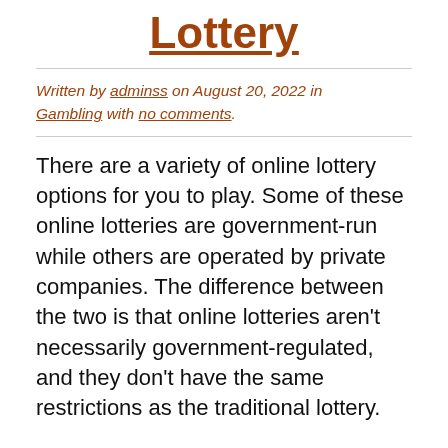Lottery
Written by adminss on August 20, 2022 in Gambling with no comments.
There are a variety of online lottery options for you to play. Some of these online lotteries are government-run while others are operated by private companies. The difference between the two is that online lotteries aren't necessarily government-regulated, and they don't have the same restrictions as the traditional lottery.